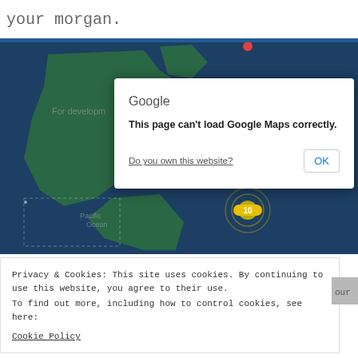your morgan.
[Figure (screenshot): Google Maps embedded map showing world map with dark blue ocean, showing Americas region with 'For development purposes only' watermark, a location marker with '10' badge, and a Google Maps API error dialog overlay saying 'This page can't load Google Maps correctly.' with 'Do you own this website?' link and OK button.]
Privacy & Cookies: This site uses cookies. By continuing to use this website, you agree to their use.
To find out more, including how to control cookies, see here:
Cookie Policy
Close and a